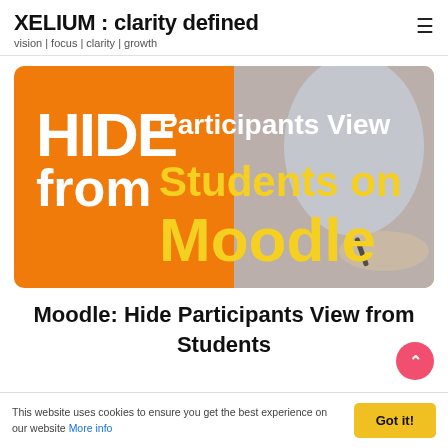XELIUM : clarity defined
vision | focus | clarity | growth
[Figure (photo): Thumbnail image with orange background and a person writing. Text overlay reads: HIDE Participants View from Students on Moodle]
Moodle: Hide Participants View from Students
This website uses cookies to ensure you get the best experience on our website More info